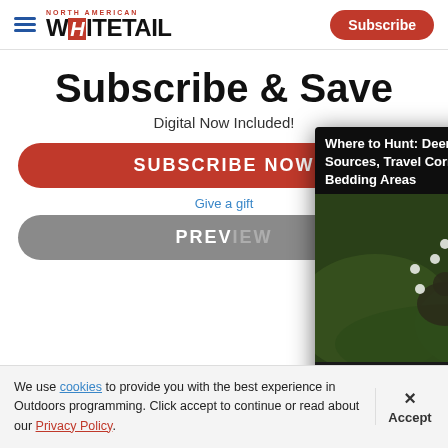North American Whitetail | Subscribe
Subscribe & Save
Digital Now Included!
SUBSCRIBE NOW
Give a gift
PREVIEW
[Figure (screenshot): Video player overlay showing 'Where to Hunt: Deer Strategies, Food Sources, Travel Corridors, and Bedding Areas' with a hunter in camouflage using binoculars in brush. Video controls show 00:00 / 02:23.]
We use cookies to provide you with the best experience in Outdoors programming. Click accept to continue or read about our Privacy Policy.